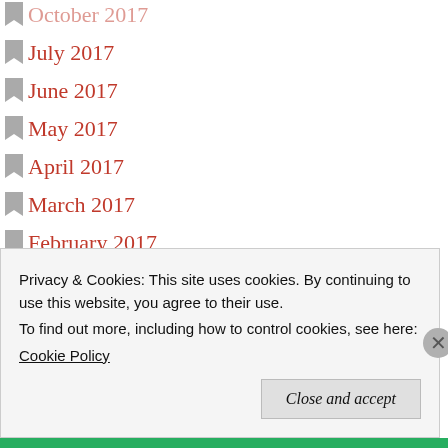October 2017
July 2017
June 2017
May 2017
April 2017
March 2017
February 2017
January 2017
October 2016
July 2016
June 2016
May 2016
April 2016
Privacy & Cookies: This site uses cookies. By continuing to use this website, you agree to their use.
To find out more, including how to control cookies, see here:
Cookie Policy
Close and accept